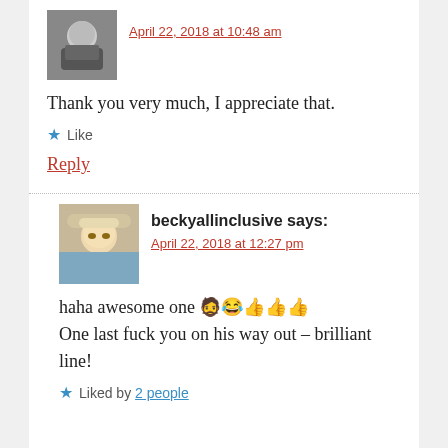[Figure (photo): Small square avatar photo of a man with a beard, black and white/grainy]
April 22, 2018 at 10:48 am
Thank you very much, I appreciate that.
Like
Reply
[Figure (photo): Avatar photo of a woman with sunglasses and a hat, blonde hair]
beckyallinclusive says:
April 22, 2018 at 12:27 pm
haha awesome one 🧔😂👍👍👍
One last fuck you on his way out – brilliant line!
Liked by 2 people